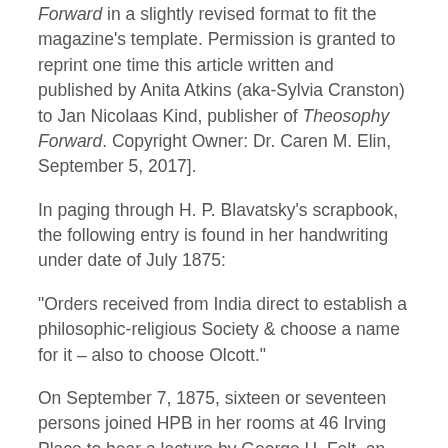Forward in a slightly revised format to fit the magazine's template. Permission is granted to reprint one time this article written and published by Anita Atkins (aka-Sylvia Cranston) to Jan Nicolaas Kind, publisher of Theosophy Forward. Copyright Owner: Dr. Caren M. Elin, September 5, 2017].
In paging through H. P. Blavatsky's scrapbook, the following entry is found in her handwriting under date of July 1875:
“Orders received from India direct to establish a philosophic-religious Society & choose a name for it – also to choose Olcott.”
On September 7, 1875, sixteen or seventeen persons joined HPB in her rooms at 46 Irving Place to hear a lecture by George H. Felt, an engineer and architect, on “The Lost Canon of Proportion of the Egyptians, Greeks and Romans.” The talk was enthusiastically received, and Olcott wrote on